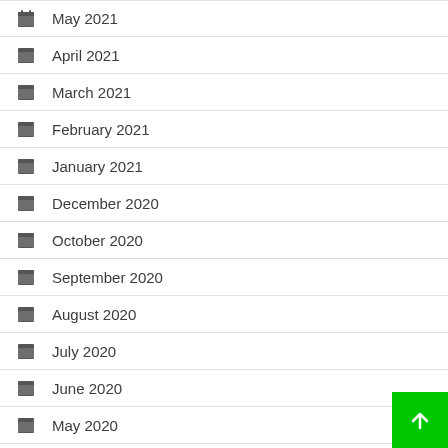May 2021
April 2021
March 2021
February 2021
January 2021
December 2020
October 2020
September 2020
August 2020
July 2020
June 2020
May 2020
April 2020
March 2020 (partial)